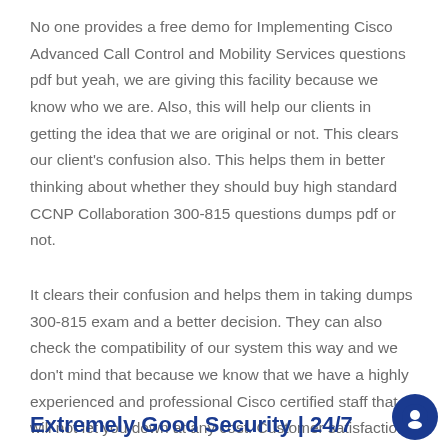No one provides a free demo for Implementing Cisco Advanced Call Control and Mobility Services questions pdf but yeah, we are giving this facility because we know who we are. Also, this will help our clients in getting the idea that we are original or not. This clears our client's confusion also. This helps them in better thinking about whether they should buy high standard CCNP Collaboration 300-815 questions dumps pdf or not.
It clears their confusion and helps them in taking dumps 300-815 exam and a better decision. They can also check the compatibility of our system this way and we don't mind that because we know that we have a highly experienced and professional Cisco certified staff that will not let you down at any cost. Customer satisfaction has always been our priority and will remain too.
Extremely Good Security | 24/7